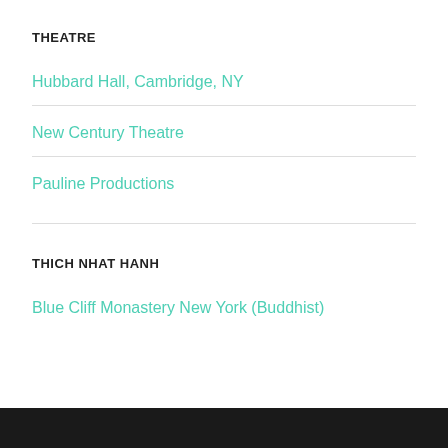THEATRE
Hubbard Hall, Cambridge, NY
New Century Theatre
Pauline Productions
THICH NHAT HANH
Blue Cliff Monastery New York (Buddhist)